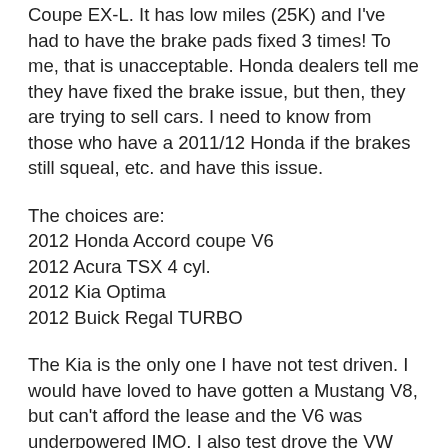Coupe EX-L. It has low miles (25K) and I've had to have the brake pads fixed 3 times! To me, that is unacceptable. Honda dealers tell me they have fixed the brake issue, but then, they are trying to sell cars. I need to know from those who have a 2011/12 Honda if the brakes still squeal, etc. and have this issue.
The choices are:
2012 Honda Accord coupe V6
2012 Acura TSX 4 cyl.
2012 Kia Optima
2012 Buick Regal TURBO
The Kia is the only one I have not test driven. I would have loved to have gotten a Mustang V8, but can't afford the lease and the V6 was underpowered IMO. I also test drove the VW CC and was appalled at the amount of throttle lag. I can't believe Edmunds never commented on that in their review. To me, acceleration is unpredictable and unsafe. Again, would have leased a